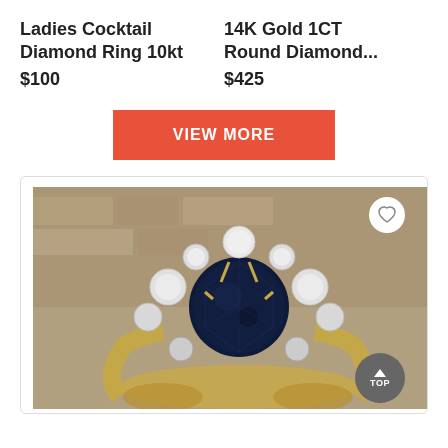Ladies Cocktail Diamond Ring 10kt
$100
14K Gold 1CT Round Diamond...
$425
VIEW MORE
[Figure (photo): Close-up photo of a gold cocktail ring with a large dark blue sapphire center stone surrounded by a halo of round white diamonds, set in yellow gold.]